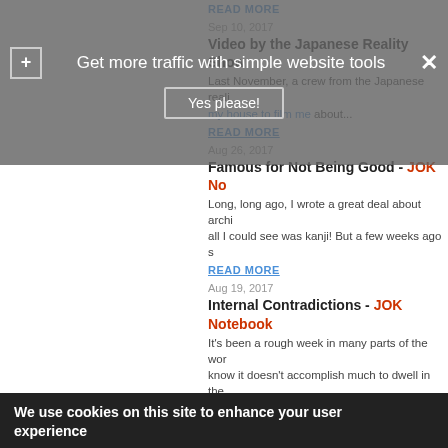READ MORE
Sep 10, 2017
Video by the Japanese Reality Show
Last November, a crew from the Japanese reali... my house to film me about...
READ MORE
Aug 26, 2017
Famous for Not Being Good - JOK No
Long, long ago, I wrote a great deal about archi... all I could see was kanji! But a few weeks ago s...
READ MORE
Aug 19, 2017
Internal Contradictions - JOK Notebook
It's been a rough week in many parts of the wor... know it doesn't accomplish much to dwell in the...
READ MORE
Aug 12, 2017
Horses of Different Colors - JOK Noteb
Let's start with a quiz! If 報 (ほうしゅう) means "reward...
We use cookies on this site to enhance your user experience